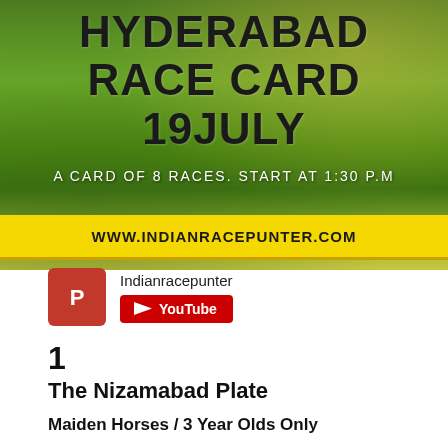[Figure (photo): Hyderabad Race Card 19 July promotional banner with grass background. Text reads: HYDERABAD RACE CARD 19JULY. A CARD OF 8 RACES. START AT 1:30 P.M. Yellow bar with WWW.INDIANRACEPUNTER.COM]
[Figure (logo): Indianracepunter YouTube channel logo icon (red square with stylized P) and YouTube subscribe button]
Indianracepunter
1
The Nizamabad Plate
Maiden Horses / 3 Year Olds Only